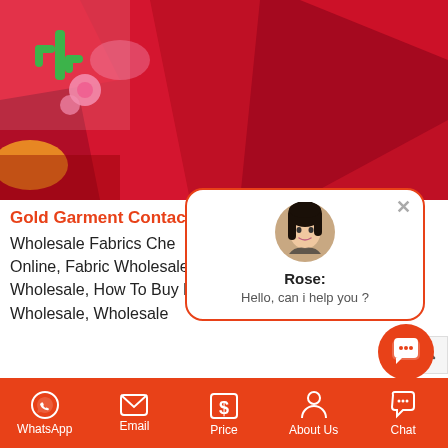[Figure (photo): Close-up photo of red fabric/felt material with decorative elements including green cactus and pink/yellow floral patterns]
Gold Garment Contacts
Wholesale Fabrics Cheap, Wholesale Fabric Suppliers Online, Fabric Wholesale Near Me, Rolls Of Fabric Wholesale, How To Buy Fabric Wholesale, Cotton Fabric Wholesale, Wholesale
[Figure (screenshot): Chat popup with avatar photo of Rose, showing message: Rose: Hello, can i help you ?]
WhatsApp   Email   Price   About Us   Chat